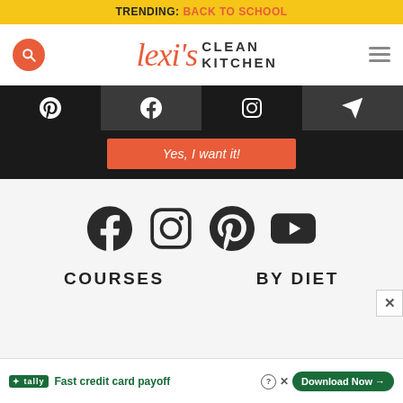TRENDING: BACK TO SCHOOL
[Figure (logo): Lexi's Clean Kitchen logo with search button and hamburger menu]
[Figure (infographic): Social media icon bar: Pinterest, Facebook, Instagram, direct message/email icons on dark background]
Yes, I want it!
[Figure (infographic): Social media icons row: Facebook, Instagram, Pinterest, YouTube on light grey background]
COURSES
BY DIET
[Figure (infographic): Tally ad banner: Fast credit card payoff with Download Now button]